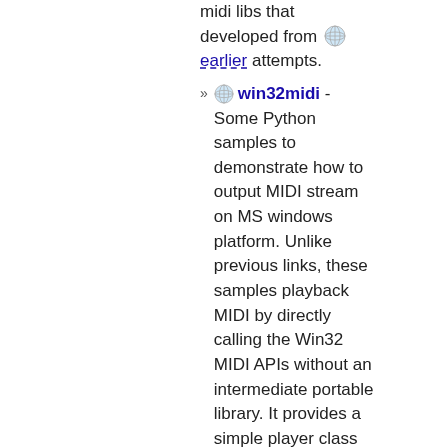midi libs that developed from [globe icon] earlier attempts.
win32midi - Some Python samples to demonstrate how to output MIDI stream on MS windows platform. Unlike previous links, these samples playback MIDI by directly calling the Win32 MIDI APIs without an intermediate portable library. It provides a simple player class for playing with MIDI sound using the synthesizer on the